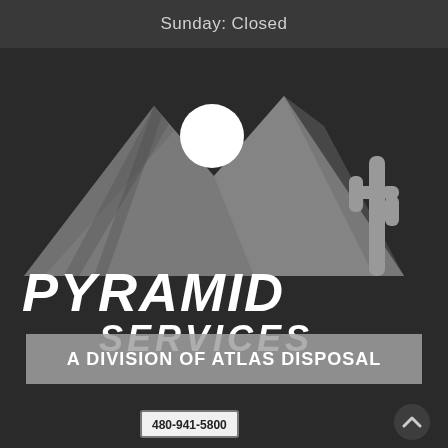Sunday: Closed
[Figure (logo): Pyramid Services logo: desert mountains silhouette in gray with a white sun circle, saguaro cactus on the right, stylized italic white text 'PYRAMID SERVICES' below]
A DIVISION OF ATLAS DISPOSAL
480-941-5800